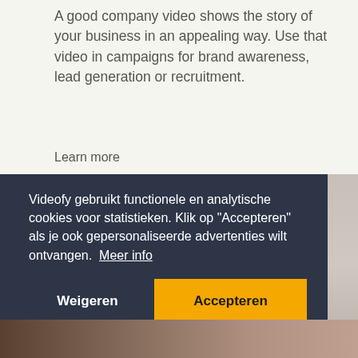A good company video shows the story of your business in an appealing way. Use that video in campaigns for brand awareness, lead generation or recruitment.
Learn more
Videofy gebruikt functionele en analytische cookies voor statistieken. Klik op "Accepteren" als je ook gepersonaliseerde advertenties wilt ontvangen. Meer info
Weigeren
Accepteren
[Figure (photo): Bottom strip of a photo showing hands or workspace background]